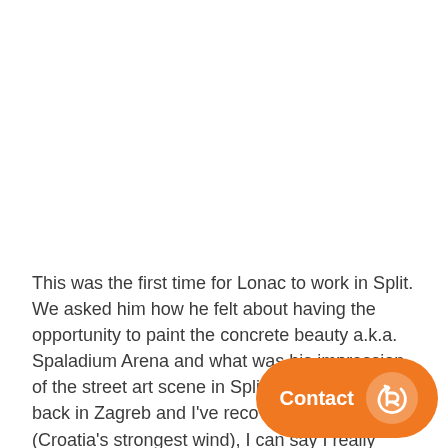This was the first time for Lonac to work in Split. We asked him how he felt about having the opportunity to paint the concrete beauty a.k.a. Spadium Arena and what was his impression of the street art scene in Split. – Now that I'm back in Zagreb and I've recovered from bura (Croatia's strongest wind), I can say I really enjoyed Split. The wall of the Spaladium Arena one I've painted so far, and I'm h mural on a background like that one. My early wal...